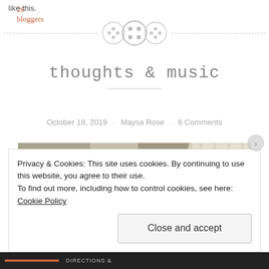26 bloggers like this.
[Figure (illustration): A decorative divider made of three button icons on a dashed horizontal line]
thoughts & music
October 18, 2019 · Maysa Rose · 6 Comments
[Figure (photo): A cropped photograph with muted khaki and tan tones showing abstract shapes and shadows]
Privacy & Cookies: This site uses cookies. By continuing to use this website, you agree to their use.
To find out more, including how to control cookies, see here: Cookie Policy
Close and accept